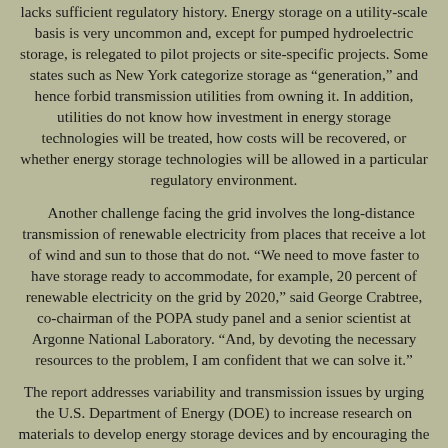lacks sufficient regulatory history. Energy storage on a utility-scale basis is very uncommon and, except for pumped hydroelectric storage, is relegated to pilot projects or site-specific projects. Some states such as New York categorize storage as "generation," and hence forbid transmission utilities from owning it. In addition, utilities do not know how investment in energy storage technologies will be treated, how costs will be recovered, or whether energy storage technologies will be allowed in a particular regulatory environment.
Another challenge facing the grid involves the long-distance transmission of renewable electricity from places that receive a lot of wind and sun to those that do not. "We need to move faster to have storage ready to accommodate, for example, 20 percent of renewable electricity on the grid by 2020," said George Crabtree, co-chairman of the POPA study panel and a senior scientist at Argonne National Laboratory. "And, by devoting the necessary resources to the problem, I am confident that we can solve it."
The report addresses variability and transmission issues by urging the U.S. Department of Energy (DOE) to increase research on materials to develop energy storage devices and by encouraging the DOE to focus on long-distance superconducting direct current cables to bring renewable electricity to load centers, lessening the chance that power will be disrupted. The report also calls for examining renewable electricity in light of a unified grid instead of